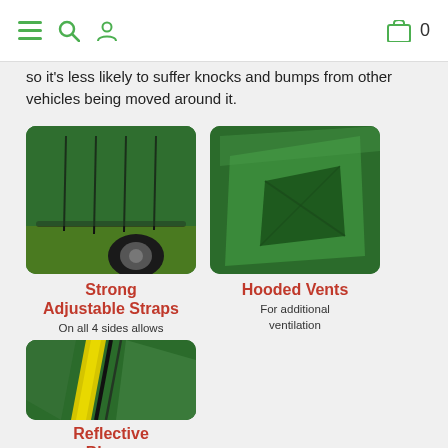Navigation header with menu, search, user, cart icons
so it's less likely to suffer knocks and bumps from other vehicles being moved around it.
[Figure (photo): Green vehicle cover showing adjustable elastic straps along bottom edge with bungee cords]
[Figure (photo): Close-up of green vehicle cover showing hooded vent flap]
Strong Adjustable Straps
On all 4 sides allows a windproof fit
Hooded Vents
For additional ventilation
[Figure (photo): Green vehicle cover showing yellow reflective blaze/stripe]
Reflective Blazes
Front and rear